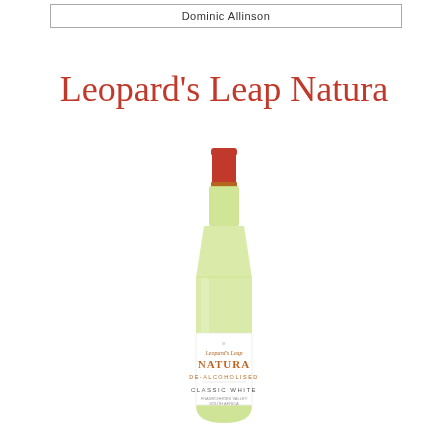Dominic Allinson
Leopard's Leap Natura
[Figure (photo): A bottle of Leopard's Leap Natura De-Alcoholised Classic White wine with a red/orange foil cap and a white label reading 'Leopard's Leap NATURA De-Alcoholised Classic White, South Africa'.]